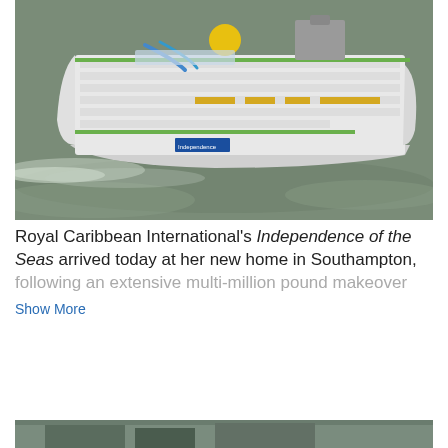[Figure (photo): Aerial view of Royal Caribbean International's Independence of the Seas cruise ship sailing on grey-green water, showing the large white ship with green accents, water slides, and yellow lifeboats from above]
Royal Caribbean International's Independence of the Seas arrived today at her new home in Southampton, following an extensive multi-million pound makeover
Show More
DOWNLOAD
[Figure (photo): Partial view of another image at the bottom of the page, appears to be a building or structure]